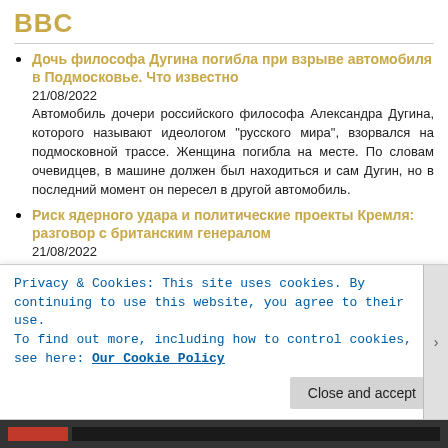BBC
Дочь философа Дугина погибла при взрыве автомобиля в Подмосковье. Что известно
21/08/2022
Автомобиль дочери российского философа Александра Дугина, которого называют идеологом "русского мира", взорвался на подмосковной трассе. Женщина погибла на месте. По словам очевидцев, в машине должен был находиться и сам Дугин, но в последний момент он пересел в другой автомобиль.
Риск ядерного удара и политические проекты Кремля: разговор с британским генералом
21/08/2022
Генерал сэр Ричард Бэрронс рассказал в интервью Би-би-си, почему референдумы на оккупированных территориях могут увеличить риск российского тактического ядерного удара.
Privacy & Cookies: This site uses cookies. By continuing to use this website, you agree to their use.
To find out more, including how to control cookies, see here: Our Cookie Policy
Close and accept